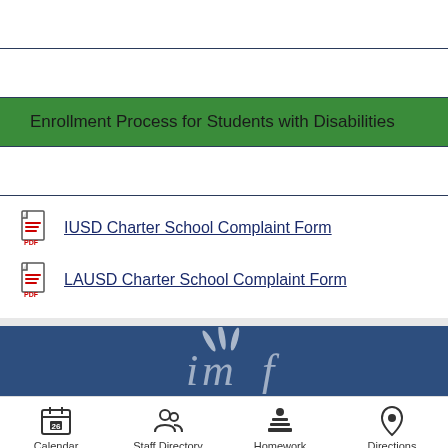Special Education
About our Programs
Enrollment Process for Students with Disabilities
Resources for Families
IUSD Charter School Complaint Form
LAUSD Charter School Complaint Form
[Figure (logo): IMF school logo in white on blue background, showing stylized letters 'imf' with a feather/leaf design above]
Calendar  Staff Directory  Homework  Directions